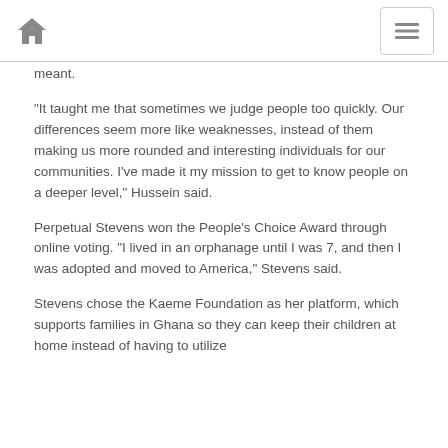Home / Menu
meant.
“It taught me that sometimes we judge people too quickly. Our differences seem more like weaknesses, instead of them making us more rounded and interesting individuals for our communities. I’ve made it my mission to get to know people on a deeper level,” Hussein said.
Perpetual Stevens won the People’s Choice Award through online voting. “I lived in an orphanage until I was 7, and then I was adopted and moved to America,” Stevens said.
Stevens chose the Kaeme Foundation as her platform, which supports families in Ghana so they can keep their children at home instead of having to utilize